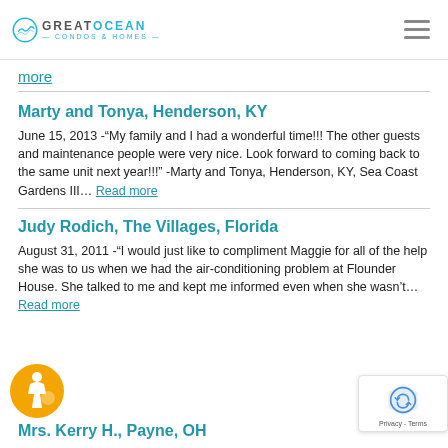Great Ocean Condos & Homes
more
Marty and Tonya, Henderson, KY
June 15, 2013 -“My family and I had a wonderful time!!! The other guests and maintenance people were very nice. Look forward to coming back to the same unit next year!!!” -Marty and Tonya, Henderson, KY, Sea Coast Gardens III… Read more
Judy Rodich, The Villages, Florida
August 31, 2011 -“I would just like to compliment Maggie for all of the help she was to us when we had the air-conditioning problem at Flounder House. She talked to me and kept me informed even when she wasn’t… Read more
Mrs. Kerry H., Payne, OH